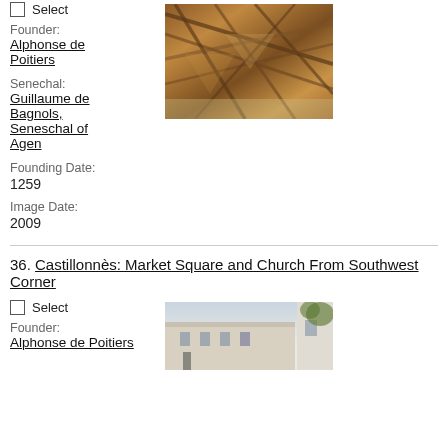Select
Founder: Alphonse de Poitiers
Senechal: Guillaume de Bagnols, Seneschal of Agen
Founding Date: 1259
Image Date: 2009
[Figure (photo): Interior wooden roof truss structure of a medieval building, photographed looking upward, showing geometric timber framework in warm brown tones.]
36. Castillonnès: Market Square and Church From Southwest Corner
Select
Founder: Alphonse de Poitiers
[Figure (photo): Exterior view of a market square building, showing pale stone or plaster facade with architectural details, partial view.]